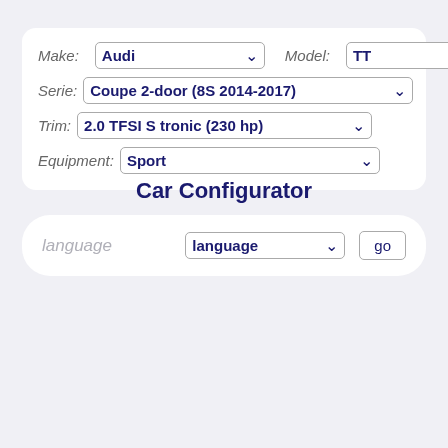Make: Audi | Model: TT | Serie: Coupe 2-door (8S 2014-2017) | Trim: 2.0 TFSI S tronic (230 hp) | Equipment: Sport
Car Configurator
language | language dropdown | go